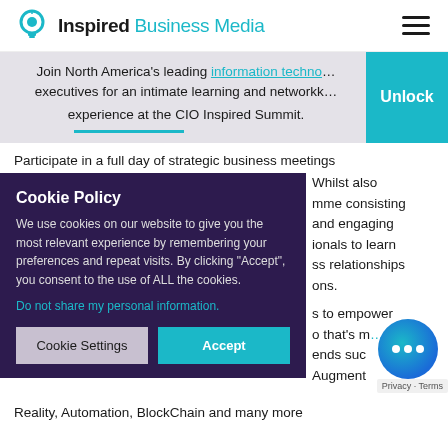Inspired Business Media
Join North America's leading information technology executives for an intimate learning and networking experience at the CIO Inspired Summit.
Participate in a full day of strategic business meetings. Whilst also enjoying a programme consisting of informative and engaging panels for professionals to learn and forge business relationships and connections.
... sessions to empower ... that's more ... trends such as Augmented Reality, Automation, BlockChain and many more
Cookie Policy
We use cookies on our website to give you the most relevant experience by remembering your preferences and repeat visits. By clicking "Accept", you consent to the use of ALL the cookies.
Do not share my personal information.
[Cookie Settings] [Accept]